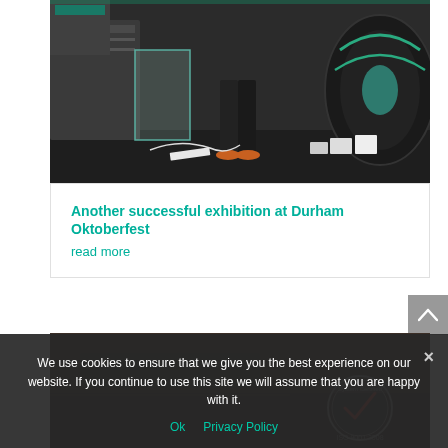[Figure (photo): Industrial/exhibition machinery and equipment on display, with people standing nearby. Dark industrial setting showing cables, spools, and equipment.]
Another successful exhibition at Durham Oktoberfest
read more
[Figure (photo): Partially visible bottom photo showing a dark brown/wood setting, likely another exhibition or event photo. An ISO 9001:2008 certification badge is partially visible.]
We use cookies to ensure that we give you the best experience on our website. If you continue to use this site we will assume that you are happy with it.
Ok   Privacy Policy